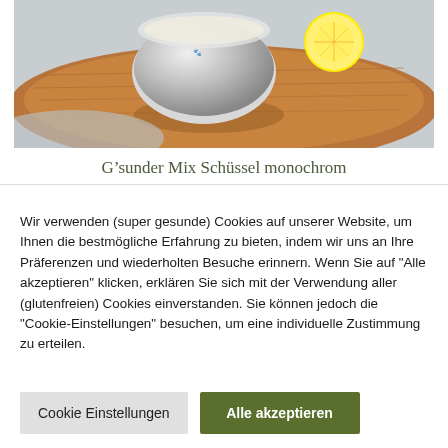[Figure (photo): A gray ceramic bowl with a logo on a wooden cutting board, with a halved lemon beside it, shot from above on a gray cloth background.]
G’sunder Mix Schüssel monochrom
Wir verwenden (super gesunde) Cookies auf unserer Website, um Ihnen die bestmögliche Erfahrung zu bieten, indem wir uns an Ihre Präferenzen und wiederholten Besuche erinnern. Wenn Sie auf "Alle akzeptieren" klicken, erklären Sie sich mit der Verwendung aller (glutenfreien) Cookies einverstanden. Sie können jedoch die "Cookie-Einstellungen" besuchen, um eine individuelle Zustimmung zu erteilen.
Cookie Einstellungen
Alle akzeptieren